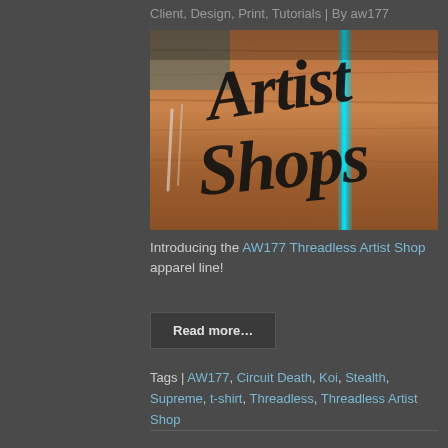Client, Design, Print, Tutorials | By aw177
[Figure (illustration): Artist Shops logo rendered in black brush calligraphy lettering on a worn wooden background with a teal/cyan vertical streak. Text reads 'Artist Shops' in stylized script.]
Introducing the AW177 Threadless Artist Shop apparel line!
Read more...
Tags | AW177, Circuit Death, Koi, Stealth, Supreme, t-shirt, Threadless, Threadless Artist Shop
AW177 Dynomighty Wallet – Sold in Earthbound